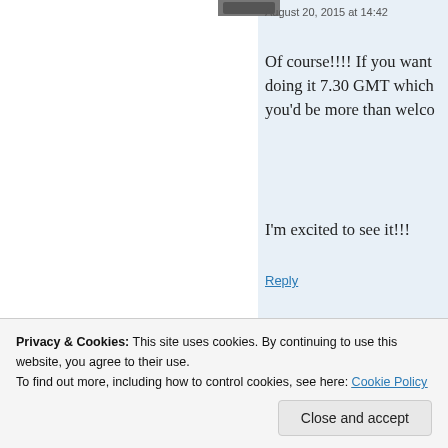August 20, 2015 at 14:42
Of course!!!! If you want doing it 7.30 GMT which you'd be more than welco
I'm excited to see it!!!
Reply
domingosaurus says August 20, 2015 at 14:4
Ahhh, I'll be in the
Privacy & Cookies: This site uses cookies. By continuing to use this website, you agree to their use.
To find out more, including how to control cookies, see here: Cookie Policy
Close and accept